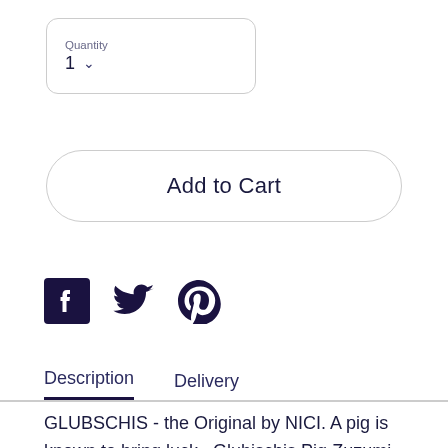Quantity
1
Add to Cart
[Figure (illustration): Social media share icons: Facebook, Twitter, Pinterest]
Description | Delivery
GLUBSCHIS - the Original by NICI. A pig is known to bring luck...Glubischis Pig Zuzumi will be fascinating fans all ages and is a well-received good luck charm. GLUBSCHIS Pig Zuzumi comes in the classic pink tone,